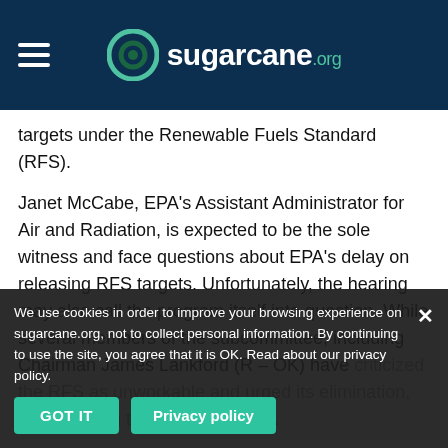sugarcane.org
targets under the Renewable Fuels Standard (RFS).
Janet McCabe, EPA's Assistant Administrator for Air and Radiation, is expected to be the sole witness and face questions about EPA's delay on releasing RFS targets. Unfortunately, the hearing may also call the program itself into question. While several members of the subcommittee, including Chairman James Lankford (R – OK) have criticized the RFS as unworkable and urged its elimination, we are going to defend the facts. The RFS has been cutting both emissions from vehicle fuels while
We use cookies in order to improve your browsing experience on sugarcane.org, not to collect personal information. By continuing to use the site, you agree that it is OK. Read about our privacy policy.